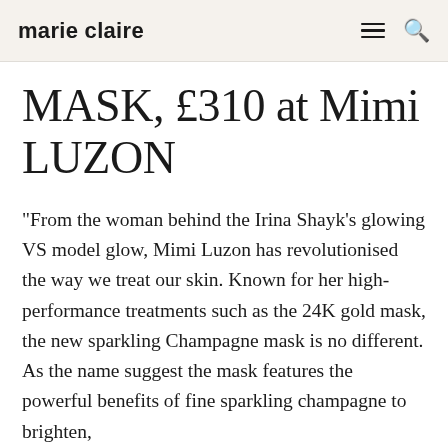marie claire
MASK, £310 at Mimi LUZON
"From the woman behind the Irina Shayk's glowing VS model glow, Mimi Luzon has revolutionised the way we treat our skin. Known for her high-performance treatments such as the 24K gold mask, the new sparkling Champagne mask is no different. As the name suggest the mask features the powerful benefits of fine sparkling champagne to brighten,